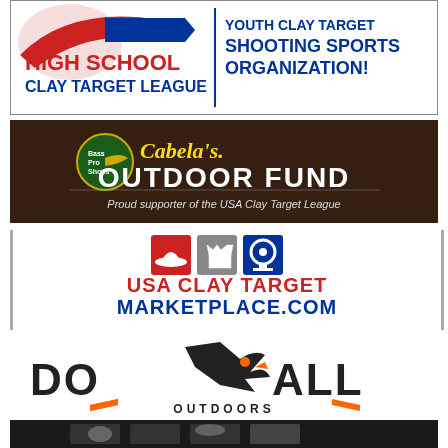[Figure (logo): High School Clay Target League - Youth Clay Target Shooting Sports Organization! logo banner with red and blue text on white background]
[Figure (logo): Bass Pro Shops / Cabela's Outdoor Fund - Proud supporter of the USA Clay Target League banner with dark background]
[Figure (logo): USA Clay Target Marketplace.com logo with red, grey, and blue icon squares showing hat, shirt, and trophy]
[Figure (logo): Do All Outdoors logo with black bold text and orange bird graphic]
[Figure (photo): Partial banner image at bottom, dark background, partially cropped]